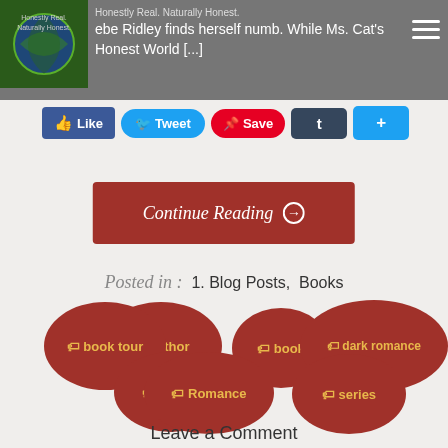Honestly Real. Naturally Honest. — ebe Ridley finds herself numb. While Ms. Cat's Honest World [...]
[Figure (screenshot): Social sharing buttons: Like (Facebook), Tweet (Twitter), Save (Pinterest), Tumblr, Share (+)]
Continue Reading →
Posted in : 1. Blog Posts, Books
author
book
book tour
dark romance
review
Romance
series
Leave a Comment